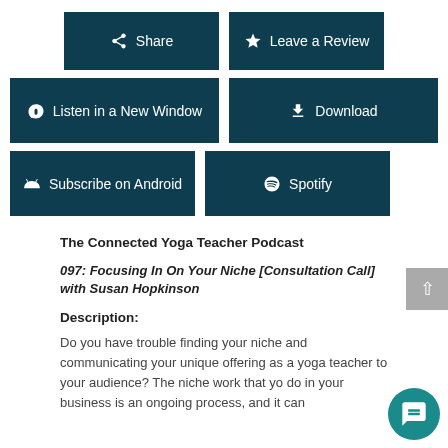[Figure (screenshot): Row of dark teal podcast action buttons: Share, Leave a Review, Listen in a New Window, Download, Subscribe on Android, Spotify]
The Connected Yoga Teacher Podcast
097: Focusing In On Your Niche [Consultation Call] with Susan Hopkinson
Description:
Do you have trouble finding your niche and communicating your unique offering as a yoga teacher to your audience? The niche work that you do in your business is an ongoing process, and it can